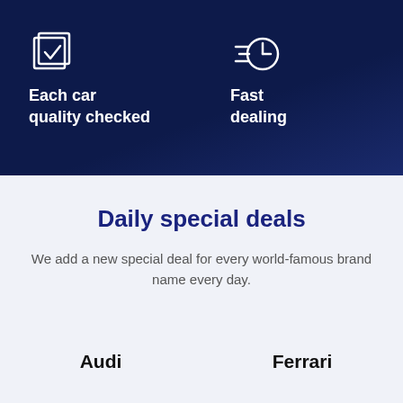[Figure (illustration): Dark navy blue background section with two icon+text blocks: a checkbox icon with 'Each car quality checked' and a fast-clock icon with 'Fast dealing']
Each car quality checked
Fast dealing
Daily special deals
We add a new special deal for every world-famous brand name every day.
Audi
Ferrari